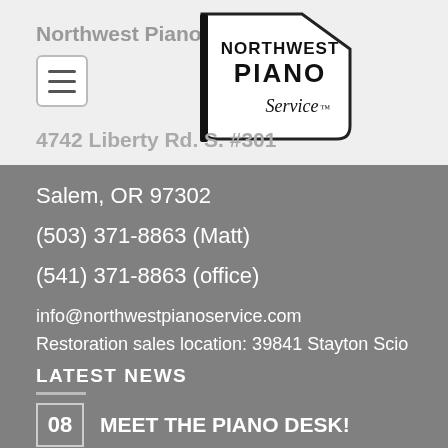Northwest Piano Service
[Figure (logo): Northwest Piano Service logo — piano flag shape with text 'Northwest Piano Service']
4742 Liberty Rd. S. #301
Salem, OR 97302
(503) 371-8863 (Matt)
(541) 371-8863 (office)
info@northwestpianoservice.com
Restoration sales location: 39841 Stayton Scio Rd Scio, OR 97374
LATEST NEWS
MEET THE PIANO DESK!
08